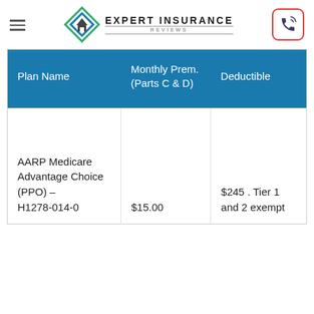Expert Insurance Reviews
| Plan Name | Monthly Prem. (Parts C & D) | Deductible |
| --- | --- | --- |
| AARP Medicare Advantage Choice (PPO) – H1278-014-0 | $15.00 | $245 . Tier 1 and 2 exempt |